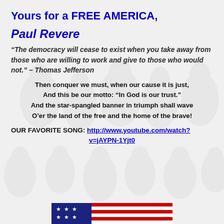Yours for a FREE AMERICA,
Paul Revere
“The democracy will cease to exist when you take away from those who are willing to work and give to those who would not.” – Thomas Jefferson
Then conquer we must, when our cause it is just,
And this be our motto: “In God is our trust.”
And the star-spangled banner in triumph shall wave
O’er the land of the free and the home of the brave!
OUR FAVORITE SONG: http://www.youtube.com/watch?v=jAYPN-1Yjt0
[Figure (illustration): Partial American flag with blue field and stars on left, red and white stripes on right, at bottom of page]